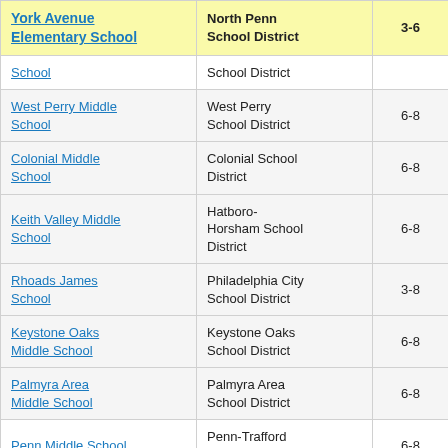| School | District | Grades | Value |
| --- | --- | --- | --- |
| York Avenue Elementary School | North Penn School District | 3-6 | -1. |
| School | School District |  |  |
| West Perry Middle School | West Perry School District | 6-8 | 1. |
| Colonial Middle School | Colonial School District | 6-8 | -1. |
| Keith Valley Middle School | Hatboro-Horsham School District | 6-8 | 0. |
| Rhoads James School | Philadelphia City School District | 3-8 | 3. |
| Keystone Oaks Middle School | Keystone Oaks School District | 6-8 | -3. |
| Palmyra Area Middle School | Palmyra Area School District | 6-8 | 0. |
| Penn Middle School | Penn-Trafford School District | 6-8 | -3. |